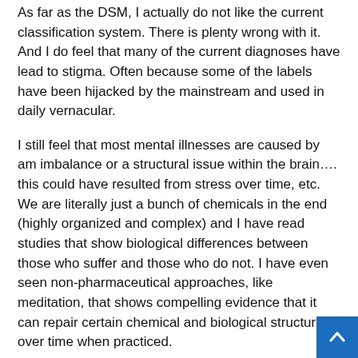As far as the DSM, I actually do not like the current classification system. There is plenty wrong with it. And I do feel that many of the current diagnoses have lead to stigma. Often because some of the labels have been hijacked by the mainstream and used in daily vernacular.
I still feel that most mental illnesses are caused by am imbalance or a structural issue within the brain…. this could have resulted from stress over time, etc. We are literally just a bunch of chemicals in the end (highly organized and complex) and I have read studies that show biological differences between those who suffer and those who do not. I have even seen non-pharmaceutical approaches, like meditation, that shows compelling evidence that it can repair certain chemical and biological structures over time when practiced.
I question everything. I KNOW I struggle with an actual "brain disorder". Your brain is the central command for perceptions, emotions, executive functions, etc. etc. etc. When an individual...